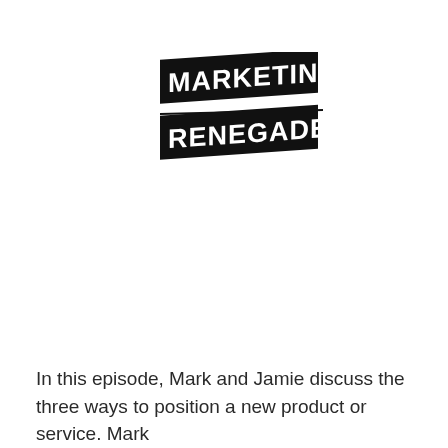[Figure (logo): Marketing Renegade logo — bold black rectangular badge with white text reading MARKETING RENEGADE on two lines, with a diagonal/skewed style]
In this episode, Mark and Jamie discuss the three ways to position a new product or service. Mark